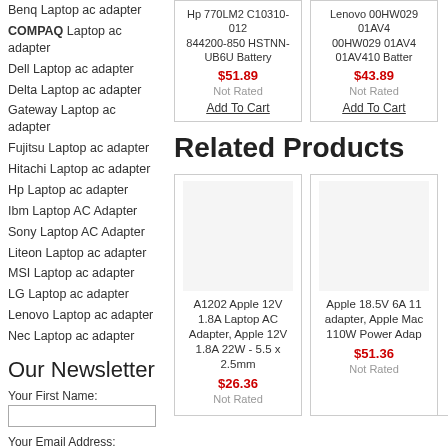Benq Laptop ac adapter
COMPAQ Laptop ac adapter
Dell Laptop ac adapter
Delta Laptop ac adapter
Gateway Laptop ac adapter
Fujitsu Laptop ac adapter
Hitachi Laptop ac adapter
Hp Laptop ac adapter
Ibm Laptop AC Adapter
Sony Laptop AC Adapter
Liteon Laptop ac adapter
MSI Laptop ac adapter
LG Laptop ac adapter
Lenovo Laptop ac adapter
Nec Laptop ac adapter
Our Newsletter
Your First Name:
Your Email Address:
subscribe me
[Figure (other): Product card: Hp 844200-850 HSTNN-UB6U Battery, $51.89, Not Rated, Add To Cart]
[Figure (other): Product card: Lenovo 00HW029 01AV409 01AV410 Battery, $43.89, Not Rated, Add To Cart]
Related Products
[Figure (other): Product card: A1202 Apple 12V 1.8A Laptop AC Adapter, Apple 12V 1.8A 22W - 5.5 x 2.5mm, $26.36, Not Rated]
[Figure (other): Product card: Apple 18.5V 6A 110W adapter, Apple Mac 110W Power Adapter, $51.36, Not Rated]